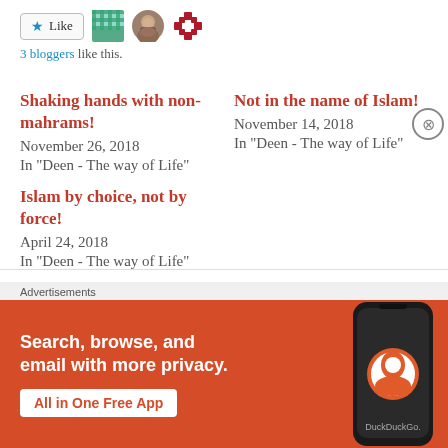[Figure (other): Like button with star icon and 3 blogger avatar thumbnails]
3 bloggers like this.
Shaking hands with non-mahrams!
November 26, 2018
In "Deen - The way of Life"
Not in the name of Islam!
November 14, 2018
In "Deen - The way of Life"
Islam by choice, not by force!
April 24, 2018
In "Deen - The way of Life"
[Figure (screenshot): DuckDuckGo advertisement banner: Search, browse, and email with more privacy. All in One Free App. Shows phone with DuckDuckGo logo.]